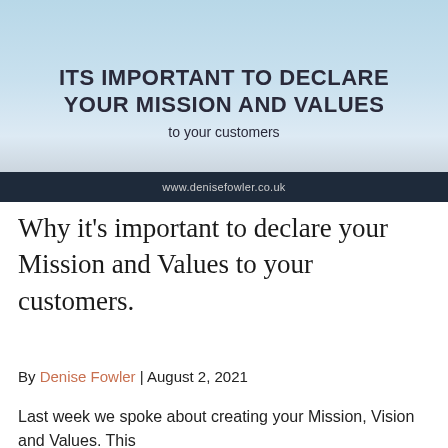[Figure (illustration): Banner image with street signs in background, light blue sky gradient. Contains bold title text: ITS IMPORTANT TO DECLARE YOUR MISSION AND VALUES to your customers, and a dark navy footer bar with www.denisefowler.co.uk]
Why it's important to declare your Mission and Values to your customers.
By Denise Fowler | August 2, 2021
Last week we spoke about creating your Mission, Vision and Values. This